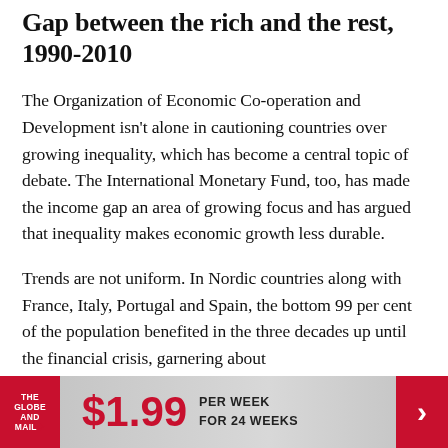Gap between the rich and the rest, 1990-2010
The Organization of Economic Co-operation and Development isn't alone in cautioning countries over growing inequality, which has become a central topic of debate. The International Monetary Fund, too, has made the income gap an area of growing focus and has argued that inequality makes economic growth less durable.
Trends are not uniform. In Nordic countries along with France, Italy, Portugal and Spain, the bottom 99 per cent of the population benefited in the three decades up until the financial crisis, garnering about
[Figure (other): Advertisement banner for The Globe and Mail: $1.99 per week for 24 weeks]